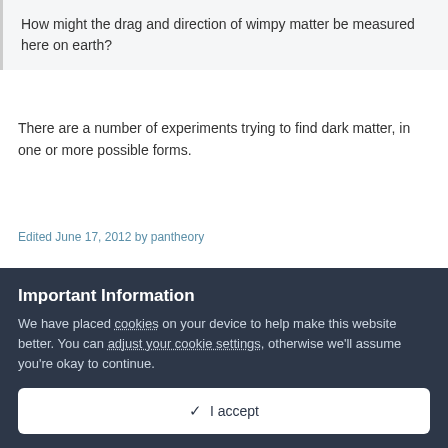How might the drag and direction of wimpy matter be measured here on earth?
There are a number of experiments trying to find dark matter, in one or more possible forms.
Edited June 17, 2012 by pantheory
1
Important Information
We have placed cookies on your device to help make this website better. You can adjust your cookie settings, otherwise we'll assume you're okay to continue.
✓  I accept